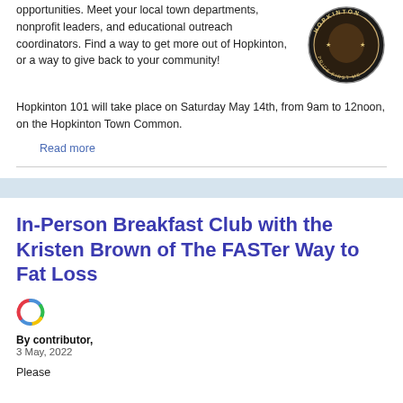opportunities. Meet your local town departments, nonprofit leaders, and educational outreach coordinators. Find a way to get more out of Hopkinton, or a way to give back to your community!
[Figure (logo): Circular seal/badge for Hopkinton with text around the edge and an image in the center]
Hopkinton 101 will take place on Saturday May 14th, from 9am to 12noon, on the Hopkinton Town Common.
Read more
In-Person Breakfast Club with the Kristen Brown of The FASTer Way to Fat Loss
[Figure (logo): Colorful circular ring icon (red, green, blue segments)]
By contributor,
3 May, 2022
Please